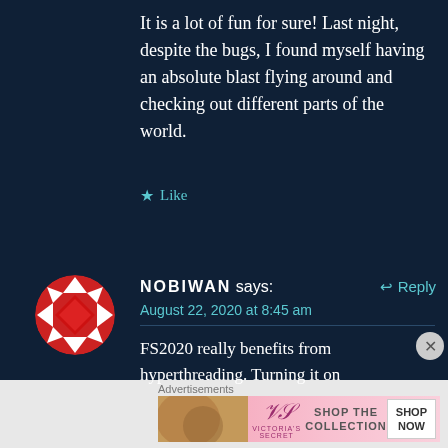It is a lot of fun for sure! Last night, despite the bugs, I found myself having an absolute blast flying around and checking out different parts of the world.
★ Like
[Figure (illustration): Round avatar icon with red and white geometric diamond/quilt pattern]
NOBIWAN says:
↩ Reply
August 22, 2020 at 8:45 am
FS2020 really benefits from hyperthreading. Turning it on
Advertisements
[Figure (illustration): Victoria's Secret advertisement banner with model photo, VS logo, SHOP THE COLLECTION text, and SHOP NOW button]